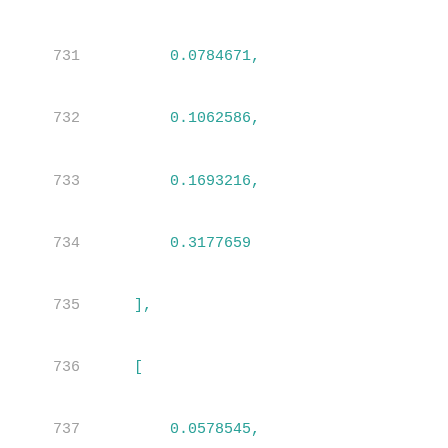731    0.0784671,
732    0.1062586,
733    0.1693216,
734    0.3177659
735    ],
736    [
737        0.0578545,
738        0.0603585,
739        0.0656592,
740        0.0781226,
741        0.1065749,
742        0.1692614,
743        0.3167944
744    ],
745    [
746        0.0587334,
747        0.0621401,
748        0.0667903,
749        0.079767,
750        0.1075576,
751        0.169939,
752        0.3107517